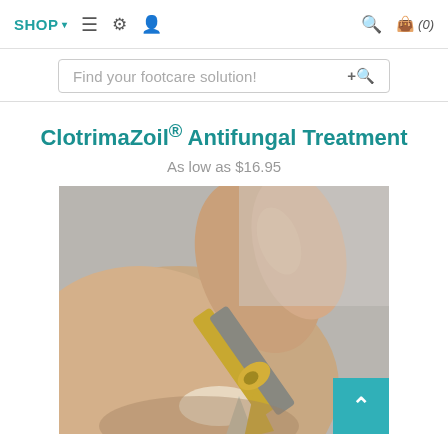SHOP ☰ ⚙ 👤 🔍 🛍 (0)
Find your footcare solution!
ClotrimaZoil® Antifungal Treatment
As low as $16.95
[Figure (photo): Close-up photo of hands using gold and silver nail clippers/nippers to trim a toenail on a foot, against a light grey background.]